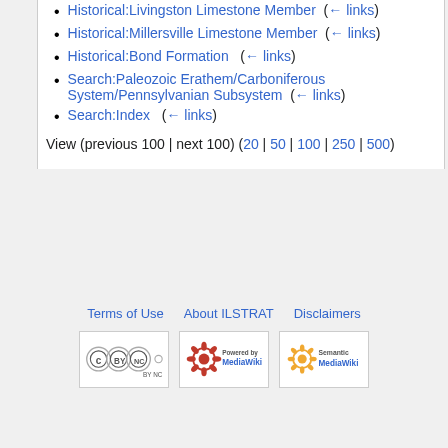Historical:Livingston Limestone Member (← links)
Historical:Millersville Limestone Member (← links)
Historical:Bond Formation (← links)
Search:Paleozoic Erathem/Carboniferous System/Pennsylvanian Subsystem (← links)
Search:Index (← links)
View (previous 100 | next 100) (20 | 50 | 100 | 250 | 500)
Terms of Use   About ILSTRAT   Disclaimers
[Figure (logo): Creative Commons BY NC SA license badge]
[Figure (logo): Powered by MediaWiki badge]
[Figure (logo): Semantic MediaWiki badge]